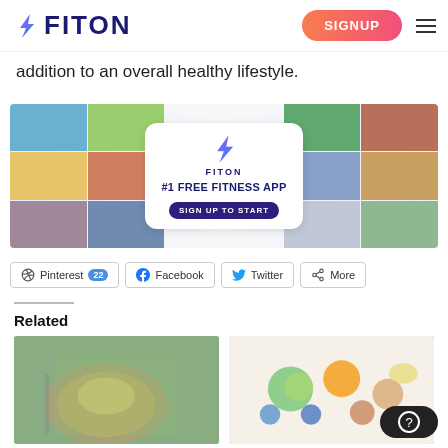FITON | SIGNUP
addition to an overall healthy lifestyle.
[Figure (infographic): FitOn #1 Free Fitness App advertisement banner with fitness and food photo collage and 'SIGN UP TO START' button]
Pinterest 22
Facebook
Twitter
More
Related
[Figure (photo): Food plate with eggs/omelette and greens]
[Figure (photo): Overhead view of fruits, nuts, and healthy foods]